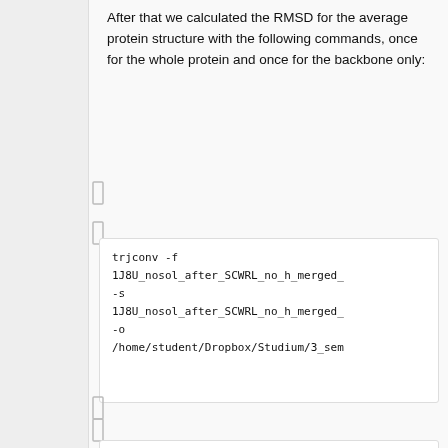After that we calculated the RMSD for the average protein structure with the following commands, once for the whole protein and once for the backbone only:
[Figure (other): Small bracket icons in left margin]
trjconv -f 1J8U_nosol_after_SCWRL_no_h_merged_ -s 1J8U_nosol_after_SCWRL_no_h_merged_ -o /home/student/Dropbox/Studium/3_sem
[Figure (other): Small bracket icons in left margin]
g_rms -f /home/student/Dropbox/Studium/3_sem -s /home/student/Dropbox/Studium/3_sem -o /home/student/Dropbox/Studium/3_sem all_atom_vs_average.xvg